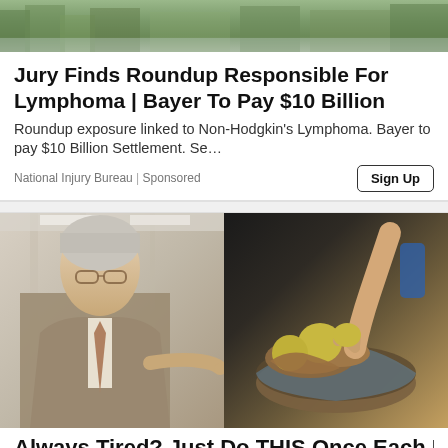[Figure (photo): Blurred outdoor photo at top, appears to be trees or vegetation]
Jury Finds Roundup Responsible For Lymphoma | Bayer To Pay $10 Billion
Roundup exposure linked to Non-Hodgkin's Lymphoma. Bayer to pay $10 Billion Settlement. Se…
National Injury Bureau | Sponsored
[Figure (photo): Split image: left side shows an older man in a suit with glasses pointing at something; right side shows hands handling what appears to be food items in a bowl]
Always Tired? Just Do THIS Once Each Day